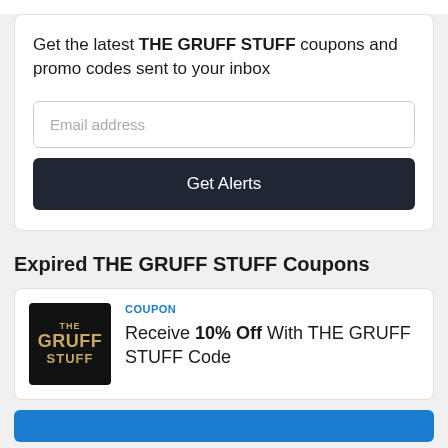Get the latest THE GRUFF STUFF coupons and promo codes sent to your inbox
Email address
Get Alerts
Expired THE GRUFF STUFF Coupons
COUPON
Receive 10% Off With THE GRUFF STUFF Code